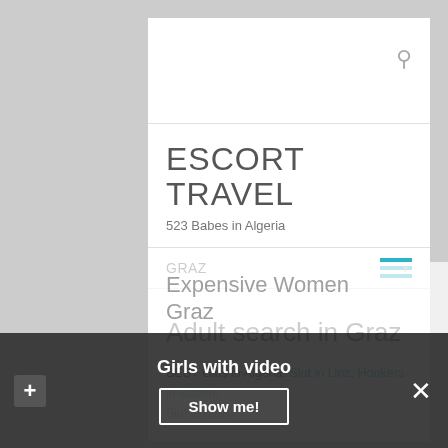ESCORT TRAVEL
523 Babes in Algeria
GRAZ
Adult search in Graz
BEST Girls in Algeria: Slut in Linz, Hookers in Baden, Slut in Linz
Girls with video
Show me!
Expensive Women Graz